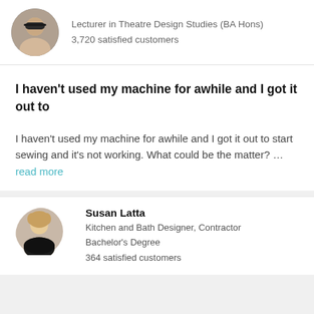Lecturer in Theatre Design Studies (BA Hons)
3,720 satisfied customers
I haven't used my machine for awhile and I got it out to
I haven't used my machine for awhile and I got it out to start sewing and it's not working. What could be the matter? … read more
Susan Latta
Kitchen and Bath Designer, Contractor
Bachelor's Degree
364 satisfied customers